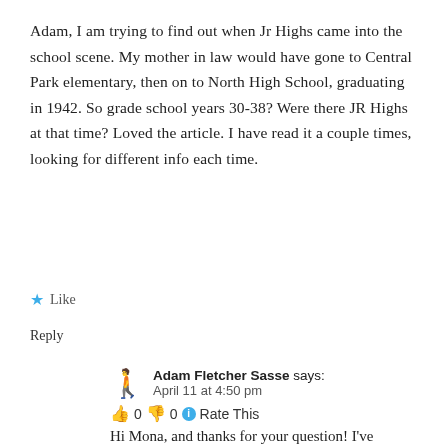Adam, I am trying to find out when Jr Highs came into the school scene. My mother in law would have gone to Central Park elementary, then on to North High School, graduating in 1942. So grade school years 30-38? Were there JR Highs at that time? Loved the article. I have read it a couple times, looking for different info each time.
★ Like
Reply
Adam Fletcher Sasse says:
April 11 at 4:50 pm
👍 0 👎 0 ℹ Rate This
Hi Mona, and thanks for your question! I've